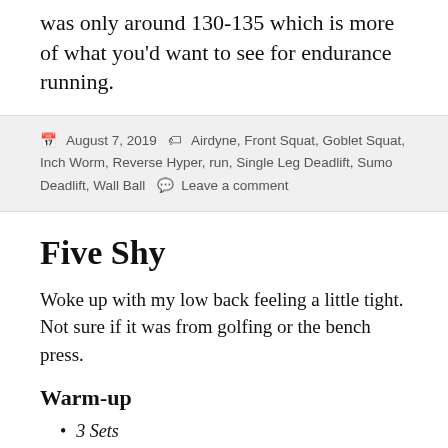was only around 130-135 which is more of what you'd want to see for endurance running.
August 7, 2019   Airdyne, Front Squat, Goblet Squat, Inch Worm, Reverse Hyper, run, Single Leg Deadlift, Sumo Deadlift, Wall Ball   Leave a comment
Five Shy
Woke up with my low back feeling a little tight. Not sure if it was from golfing or the bench press.
Warm-up
3 Sets
10 Reverse Hypers (160#)
Read Here...